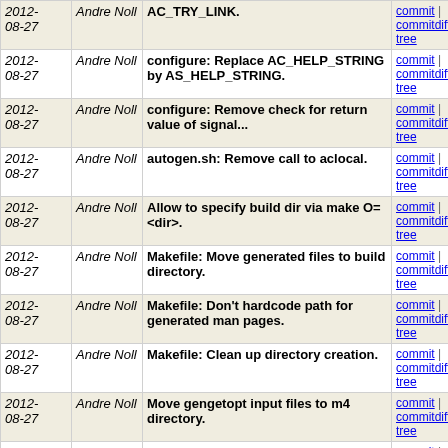| Date | Author | Commit message | Links |
| --- | --- | --- | --- |
| 2012-08-27 | Andre Noll | AC_TRY_LINK. | commit | commitdiff | tree |
| 2012-08-27 | Andre Noll | configure: Replace AC_HELP_STRING by AS_HELP_STRING. | commit | commitdiff | tree |
| 2012-08-27 | Andre Noll | configure: Remove check for return value of signal... | commit | commitdiff | tree |
| 2012-08-27 | Andre Noll | autogen.sh: Remove call to aclocal. | commit | commitdiff | tree |
| 2012-08-27 | Andre Noll | Allow to specify build dir via make O=<dir>. | commit | commitdiff | tree |
| 2012-08-27 | Andre Noll | Makefile: Move generated files to build directory. | commit | commitdiff | tree |
| 2012-08-27 | Andre Noll | Makefile: Don't hardcode path for generated man pages. | commit | commitdiff | tree |
| 2012-08-27 | Andre Noll | Makefile: Clean up directory creation. | commit | commitdiff | tree |
| 2012-08-27 | Andre Noll | Move gengetopt input files to m4 directory. | commit | commitdiff | tree |
| 2012-08-26 | Andre Noll | Differentiate between ggo_dir and m4_ggo dir. | commit | commitdiff | tree |
| 2012-08-26 | Andre Noll | Treat all ggo files as m4 files. | commit | commitdiff | tree |
| 2012-08-26 | Andre Noll | Merge branch 't/releases_branch' | commit | commitdiff | tree |
| 2012-08-14 | Andre Noll | signal: Improve documentation of para_signal_init(). | commit | commitdiff | tree |
next